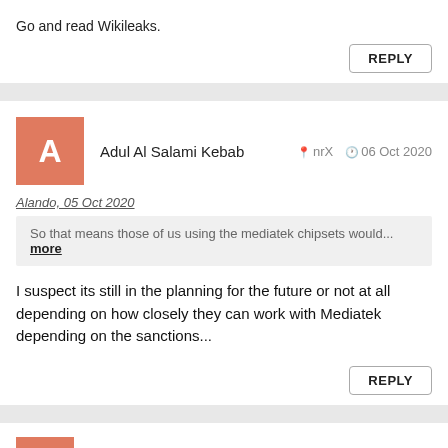Go and read Wikileaks.
REPLY
Adul Al Salami Kebab   nrX   06 Oct 2020
Alando, 05 Oct 2020
So that means those of us using the mediatek chipsets would... more
I suspect its still in the planning for the future or not at all depending on how closely they can work with Mediatek depending on the sanctions...
REPLY
abigfanoftechs   nYD   06 Oct 2020